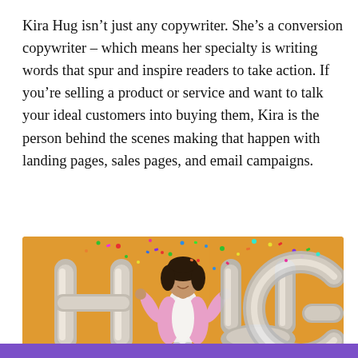Kira Hug isn't just any copywriter. She's a conversion copywriter – which means her specialty is writing words that spur and inspire readers to take action. If you're selling a product or service and want to talk your ideal customers into buying them, Kira is the person behind the scenes making that happen with landing pages, sales pages, and email campaigns.
[Figure (photo): Woman standing in front of large silver letter balloon spelling HUG on an orange background, with confetti falling around her. She is wearing a pink blazer and white top, smiling.]